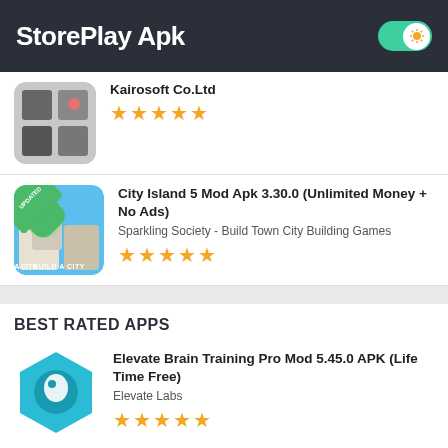StorePlay Apk
Kairosoft Co.Ltd
City Island 5 Mod Apk 3.30.0 (Unlimited Money + No Ads) - Sparkling Society - Build Town City Building Games
BEST RATED APPS
Elevate Brain Training Pro Mod 5.45.0 APK (Life Time Free) - Elevate Labs
True Skate Mod Apk Latest (Unlimited Money + No) - True Axis